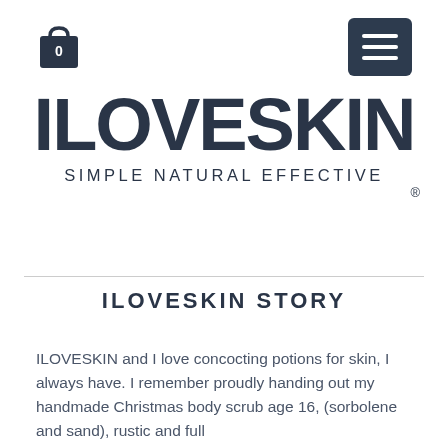[Figure (logo): Shopping bag icon with '0' and hamburger menu icon in dark navy]
ILOVESKIN
SIMPLE NATURAL EFFECTIVE ®
ILOVESKIN STORY
ILOVESKIN and I love concocting potions for skin, I always have. I remember proudly handing out my handmade Christmas body scrub age 16, (sorbolene and sand), rustic and full